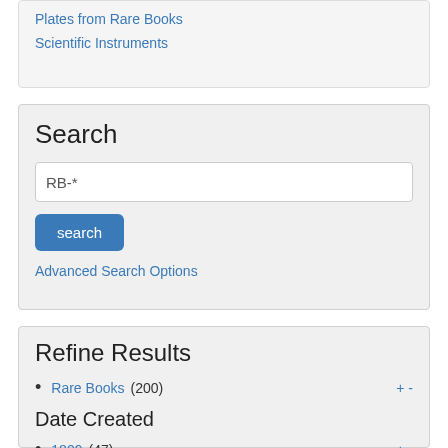Plates from Rare Books
Scientific Instruments
Search
RB-*
search
Advanced Search Options
Refine Results
Rare Books (200)
Date Created
1809 (47)
1808 (35)